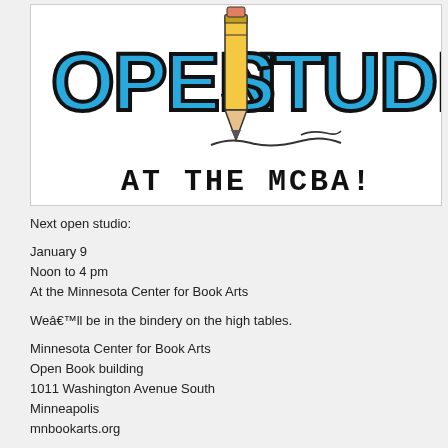[Figure (illustration): Open Studio at the MCBA logo — large blue graffiti-style letters spelling OPEN STUDIO with a pencil illustration in the center, and handwritten-style text below reading AT THE MCBA!]
Next open studio:
January 9
Noon to 4 pm
At the Minnesota Center for Book Arts
Weâll be in the bindery on the high tables.
Minnesota Center for Book Arts
Open Book building
1011 Washington Avenue South
Minneapolis
mnbookarts.org
Future Saturday Open Studios:
February 20,Â flexi space
March 19, bindery
April 23, bindery